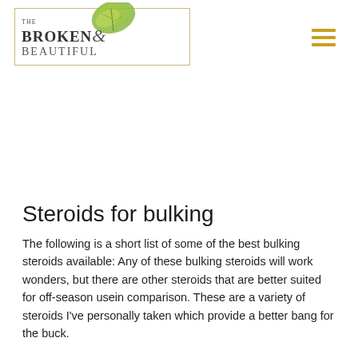[Figure (logo): The Broken & Beautiful logo with decorative leaf illustration inside a gold border rectangle, with hamburger menu icon in gold on the right]
Steroids for bulking
The following is a short list of some of the best bulking steroids available: Any of these bulking steroids will work wonders, but there are other steroids that are better suited for off-season usein comparison. These are a variety of steroids I've personally taken which provide a better bang for the buck.